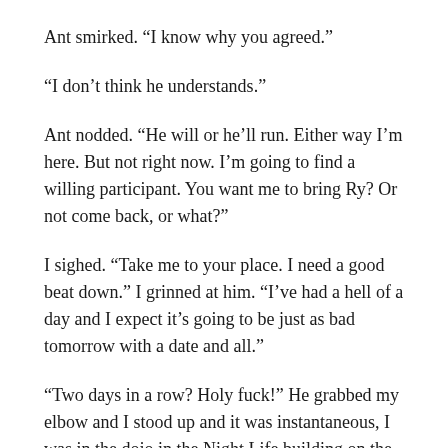Ant smirked. “I know why you agreed.”
“I don’t think he understands.”
Ant nodded. “He will or he’ll run. Either way I’m here. But not right now. I’m going to find a willing participant. You want me to bring Ry? Or not come back, or what?”
I sighed. “Take me to your place. I need a good beat down.” I grinned at him. “I’ve had a hell of a day and I expect it’s going to be just as bad tomorrow with a date and all.”
“Two days in a row? Holy fuck!” He grabbed my elbow and I stood up and it was instantaneous, I was in the dojo in the Night Life building on the 54th floor.